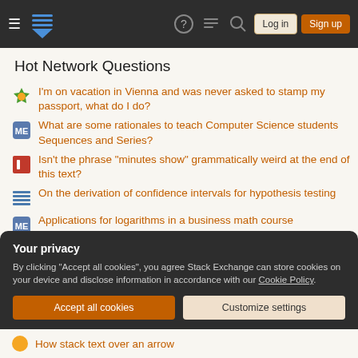Stack Exchange navigation bar with hamburger menu, logo, help, chat, search, Log in, Sign up buttons
Hot Network Questions
I'm on vacation in Vienna and was never asked to stamp my passport, what do I do?
What are some rationales to teach Computer Science students Sequences and Series?
Isn't the phrase "minutes show" grammatically weird at the end of this text?
On the derivation of confidence intervals for hypothesis testing
Applications for logarithms in a business math course
As a TA, how much information should I share with the professor about students?
Your privacy
By clicking "Accept all cookies", you agree Stack Exchange can store cookies on your device and disclose information in accordance with our Cookie Policy.
How stack text over an arrow